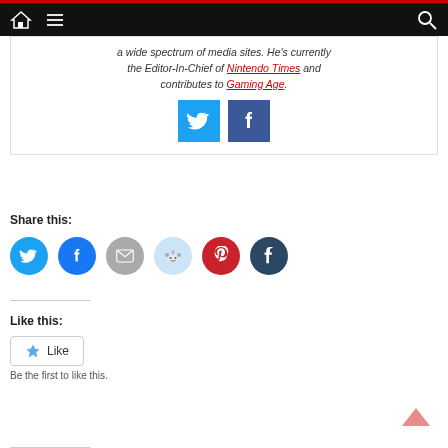Navigation bar with home icon, menu icon, and search icon
a wide spectrum of media sites. He's currently the Editor-In-Chief of Nintendo Times and contributes to Gaming Age.
[Figure (illustration): Twitter and Facebook square social media share buttons]
Share this:
[Figure (infographic): Row of circular social media share buttons: Twitter (blue), Facebook (blue), Email (grey), Reddit (light blue), Pinterest (red), Tumblr (dark navy)]
Like this:
[Figure (illustration): WordPress Like button widget with star icon and Like label]
Be the first to like this.